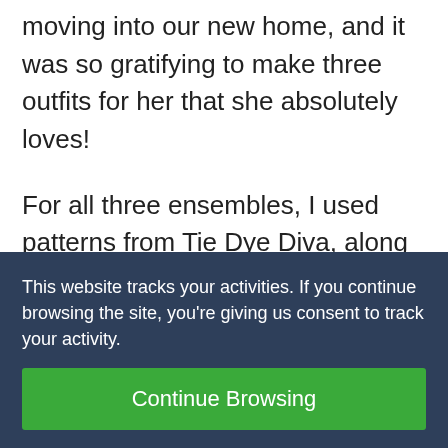moving into our new home, and it was so gratifying to make three outfits for her that she absolutely loves!
For all three ensembles, I used patterns from Tie Dye Diva, along with the ruffled pants pattern by Portobellopixie. Although the different outfits require varying degrees of sewing experience
This website tracks your activities. If you continue browsing the site, you're giving us consent to track your activity.
Continue Browsing